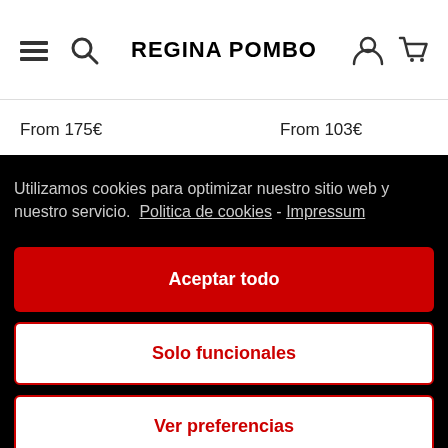REGINA POMBO
From 175€
From 103€
Utilizamos cookies para optimizar nuestro sitio web y nuestro servicio.  Politica de cookies - Impressum
Aceptar todo
Solo funcionales
Ver preferencias